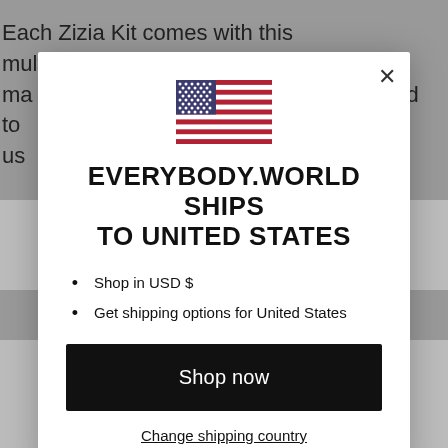Each Zizia Kit comes with this multifunctional Mini Tote, ma... to us
[Figure (screenshot): Modal dialog showing US flag and shipping information for everybody.world]
EVERYBODY.WORLD SHIPS TO UNITED STATES
Shop in USD $
Get shipping options for United States
Shop now
Change shipping country